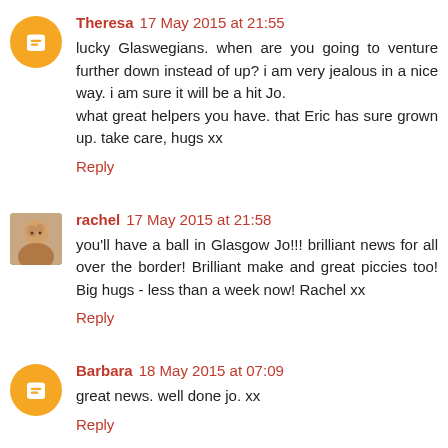Theresa 17 May 2015 at 21:55
lucky Glaswegians. when are you going to venture further down instead of up? i am very jealous in a nice way. i am sure it will be a hit Jo.
what great helpers you have. that Eric has sure grown up. take care, hugs xx
Reply
rachel 17 May 2015 at 21:58
you'll have a ball in Glasgow Jo!!! brilliant news for all over the border! Brilliant make and great piccies too! Big hugs - less than a week now! Rachel xx
Reply
Barbara 18 May 2015 at 07:09
great news. well done jo. xx
Reply